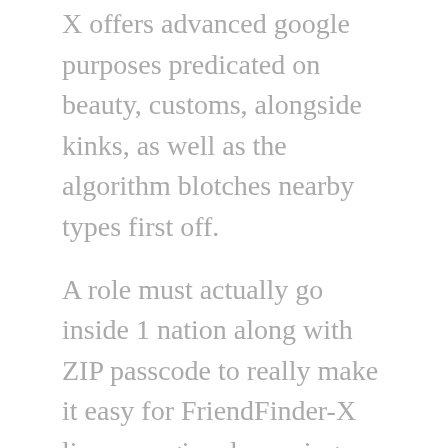X offers advanced google purposes predicated on beauty, customs, alongside kinks, as well as the algorithm blotches nearby types first off.
A role must actually go inside 1 nation along with ZIP passcode to really make it easy for FriendFinder-X line up regional morning customers. This doesnt track real time GPS useful understanding, it provides folks to shifting their property cosmetic foundation at any time bound into your settings.
FriendFinder-X also provides your Beautiful as well as Definitely not sport which business will